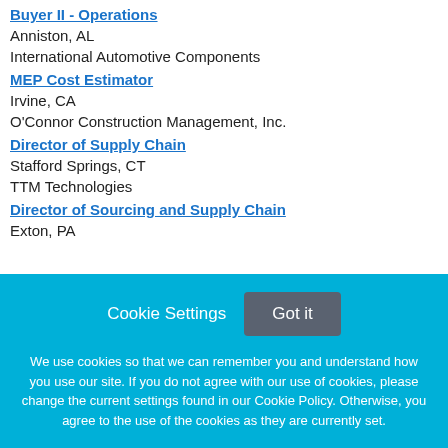Buyer II - Operations
Anniston, AL
International Automotive Components
MEP Cost Estimator
Irvine, CA
O'Connor Construction Management, Inc.
Director of Supply Chain
Stafford Springs, CT
TTM Technologies
Director of Sourcing and Supply Chain
Exton, PA
Cookie Settings   Got it
We use cookies so that we can remember you and understand how you use our site. If you do not agree with our use of cookies, please change the current settings found in our Cookie Policy. Otherwise, you agree to the use of the cookies as they are currently set.